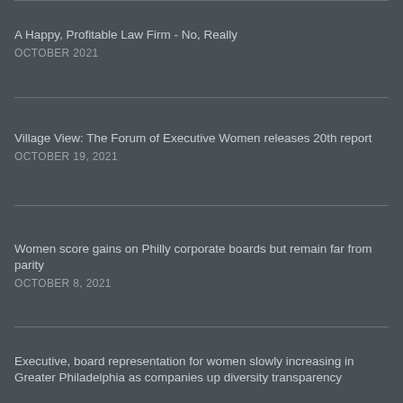A Happy, Profitable Law Firm - No, Really
OCTOBER 2021
Village View: The Forum of Executive Women releases 20th report
OCTOBER 19, 2021
Women score gains on Philly corporate boards but remain far from parity
OCTOBER 8, 2021
Executive, board representation for women slowly increasing in Greater Philadelphia as companies up diversity transparency